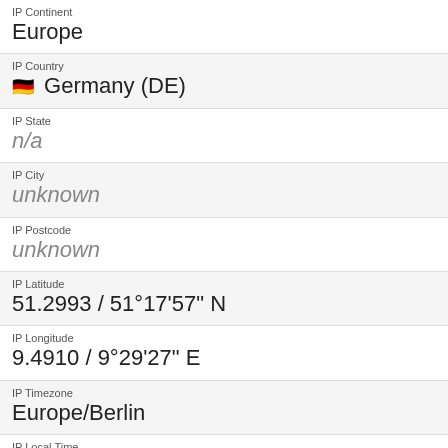IP Continent
Europe
IP Country
🇩🇪 Germany (DE)
IP State
n/a
IP City
unknown
IP Postcode
unknown
IP Latitude
51.2993 / 51°17'57" N
IP Longitude
9.4910 / 9°29'27" E
IP Timezone
Europe/Berlin
IP Local Time
Sat, 03 Sep 2022 08:22:41 +0200